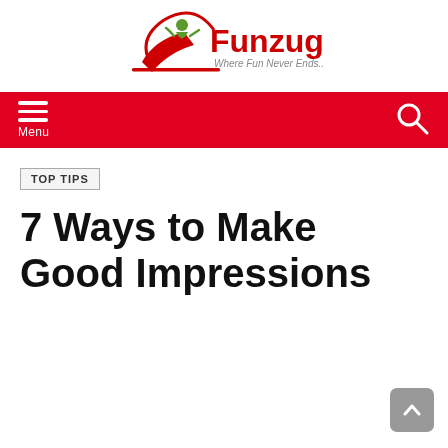Funzug — Where Fun Never Ends..
[Figure (logo): Funzug logo with a figure person icon and red arc, text reads Funzug Where Fun Never Ends..]
TOP TIPS
7 Ways to Make Good Impressions